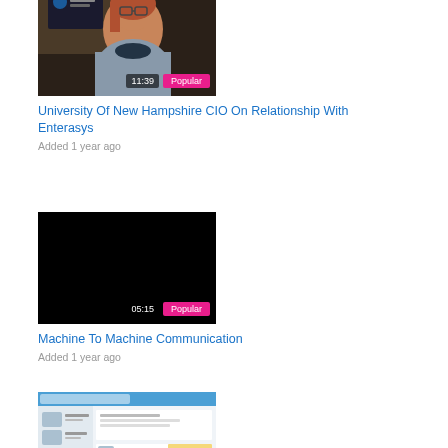[Figure (screenshot): Video thumbnail showing a woman with glasses and reddish hair, with an Enterasys logo/poster in the background. Duration badge 11:39 and Popular badge visible at bottom right.]
University Of New Hampshire CIO On Relationship With Enterasys
Added 1 year ago
[Figure (screenshot): Video thumbnail showing a black/dark screen. Duration badge 05:15 and Popular badge visible at bottom right.]
Machine To Machine Communication
Added 1 year ago
[Figure (screenshot): Video thumbnail showing a screenshot of a social media or web application interface with a blue header. Duration badge 03:46 and Popular badge visible at bottom right.]
Enterasys Isaac With Salesforce Chatter
Added 1 year ago